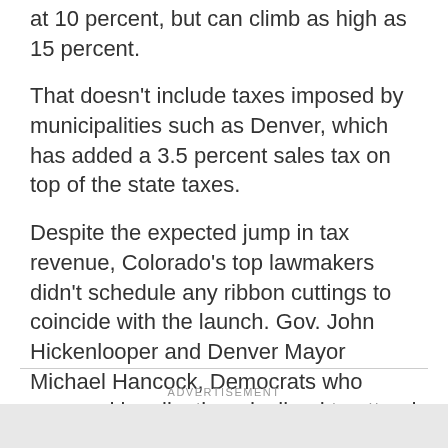at 10 percent, but can climb as high as 15 percent.
That doesn't include taxes imposed by municipalities such as Denver, which has added a 3.5 percent sales tax on top of the state taxes.
Despite the expected jump in tax revenue, Colorado's top lawmakers didn't schedule any ribbon cuttings to coincide with the launch. Gov. John Hickenlooper and Denver Mayor Michael Hancock, Democrats who opposed legalization, declined to attend any of the grand openings.
ADVERTISEMENT